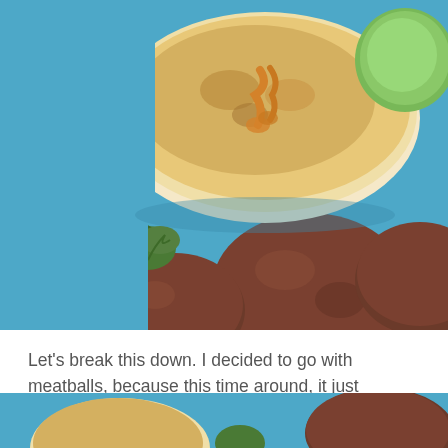[Figure (photo): Close-up photo of food items on a blue plate: meatballs, flatbread/bun with sauce drizzled on top, fresh cilantro/herbs, and a green dipping sauce in the upper right corner.]
Let's break this down. I decided to go with meatballs, because this time around, it just seemed like the right choice for what I was trying to do. I switched up the meat and went with turkey because 1. Wagyu beef is expensive! And 2. I don't eat a lot of red meat anyway. You can stick with beef if you prefer it.
[Figure (photo): Partial view of another food photo at the bottom of the page, showing a blue plate with food items similar to the top image.]